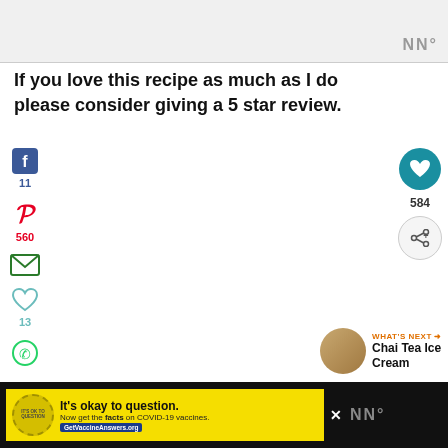[Figure (screenshot): Top banner/advertisement area with gray background and 'W°' logo mark in bottom right]
If you love this recipe as much as I do please consider giving a 5 star review.
[Figure (infographic): Social share sidebar with Facebook count 11, Pinterest count 560, email icon, heart/like count 13, WhatsApp icon]
[Figure (infographic): Floating right buttons: teal heart button, share button, count 584]
[Figure (infographic): What's Next section with food image thumbnail and text 'Chai Tea Ice Cream']
[Figure (infographic): Bottom black bar with yellow COVID-19 vaccine advertisement banner showing 'It's okay to question. Now get the facts on COVID-19 vaccines. GetVaccineAnswers.org' with close X button and W° logo]